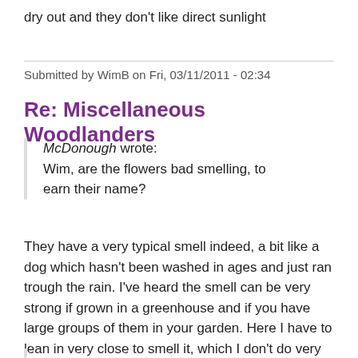dry out and they don't like direct sunlight
Submitted by WimB on Fri, 03/11/2011 - 02:34
Re: Miscellaneous Woodlanders
McDonough wrote:
Wim, are the flowers bad smelling, to earn their name?
They have a very typical smell indeed, a bit like a dog which hasn't been washed in ages and just ran trough the rain. I've heard the smell can be very strong if grown in a greenhouse and if you have large groups of them in your garden. Here I have to lean in very close to smell it, which I don't do very often...wet dog is not my favorite smell  ;D ;)